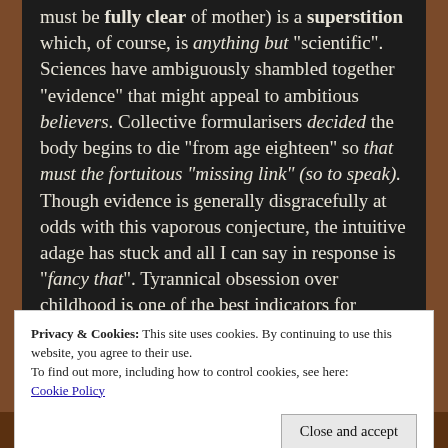must be fully clear of mother) is a superstition which, of course, is anything but "scientific". Sciences have ambiguously shambled together "evidence" that might appeal to ambitious believers. Collective formularisers decided the body begins to die "from age eighteen" so that must the fortuitous "missing link" (so to speak). Though evidence is generally disgracefully at odds with this vaporous conjecture, the intuitive adage has stuck and all I can say in response is "fancy that". Tyrannical obsession over childhood is one of the best indicators for culpable insanity we call "governments"
Privacy & Cookies: This site uses cookies. By continuing to use this website, you agree to their use.
To find out more, including how to control cookies, see here:
Cookie Policy
Close and accept
One such symptom of absolutism would